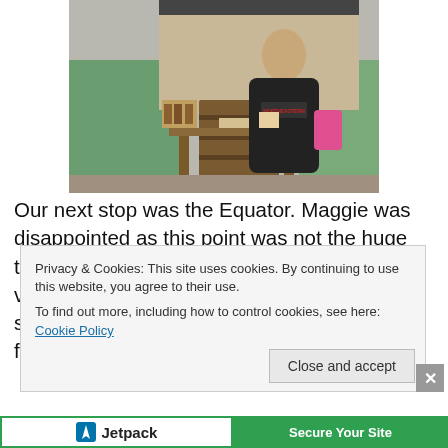[Figure (photo): A woman wearing a black Northeastern University hoodie and carrying a pink bag, standing in front of a market/store with green walls and wooden shelves.]
Our next stop was the Equator. Maggie was disappointed as this point was not the huge tourist center near Quito but a smaller version. Still, we stood at 0’ and listened to a small lecture from a local girl. Cayambe is famous for
Privacy & Cookies: This site uses cookies. By continuing to use this website, you agree to their use.
To find out more, including how to control cookies, see here: Cookie Policy
Close and accept
[Figure (logo): Jetpack logo and 'Secure Your Site' button bar at the bottom of the page]